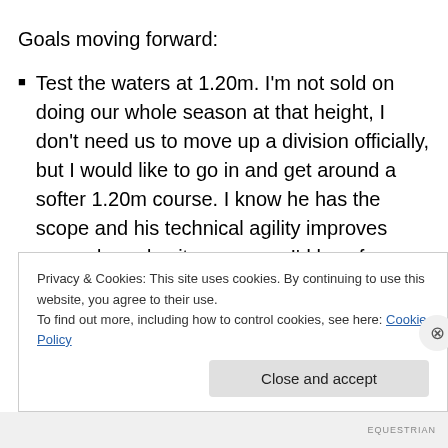Goals moving forward:
Test the waters at 1.20m. I'm not sold on doing our whole season at that height, I don't need us to move up a division officially, but I would like to go in and get around a softer 1.20m course. I know he has the scope and his technical agility improves every dang day it seems, so I'd love for us to stretch our abilities to give it a go at least once.
Find a better show bit. I'm really just not psyched about
Privacy & Cookies: This site uses cookies. By continuing to use this website, you agree to their use.
To find out more, including how to control cookies, see here: Cookie Policy
EQUESTRIAN